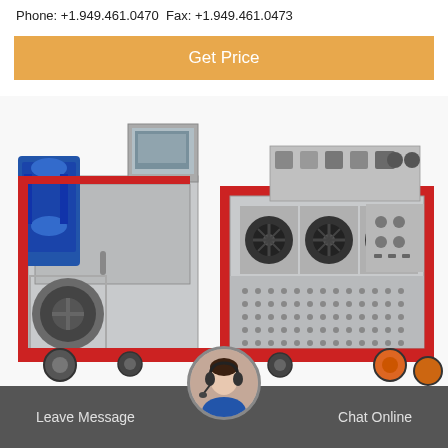Phone: +1.949.461.0470 Fax: +1.949.461.0473
Get Price
[Figure (photo): Industrial machine with red frame, gray cabinet, blue motor, three black fans, control panel with screen, and casters on wheels.]
Leave Message
[Figure (photo): Customer service avatar — woman with headset inside circular icon]
Chat Online